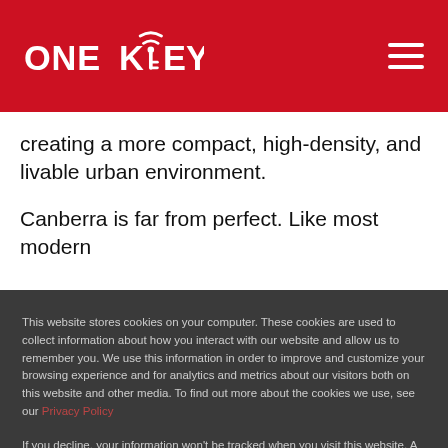ONE KEY [logo]
creating a more compact, high-density, and livable urban environment.
Canberra is far from perfect. Like most modern
This website stores cookies on your computer. These cookies are used to collect information about how you interact with our website and allow us to remember you. We use this information in order to improve and customize your browsing experience and for analytics and metrics about our visitors both on this website and other media. To find out more about the cookies we use, see our Privacy Policy
If you decline, your information won't be tracked when you visit this website. A single cookie will be used in your browser to remember your preference not to be tracked.